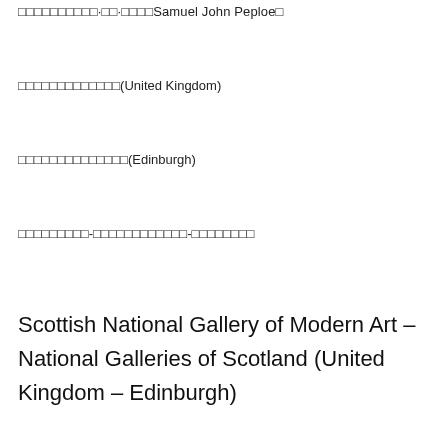（ ）
□□□□□□□□□□·□□·□□□□Samuel John Peploe□
□□□□□□□□□□□□□(United Kingdom)
□□□□□□□□□□□□□□(Edinburgh)
□□□□□□□□□-□□□□□□□□□□□□-□□□□□□□□
Scottish National Gallery of Modern Art – National Galleries of Scotland (United Kingdom – Edinburgh)